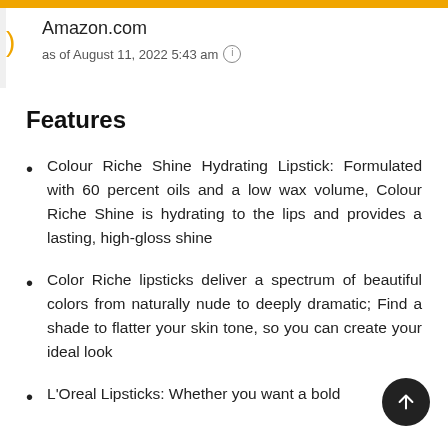Amazon.com
as of August 11, 2022 5:43 am ℹ
Features
Colour Riche Shine Hydrating Lipstick: Formulated with 60 percent oils and a low wax volume, Colour Riche Shine is hydrating to the lips and provides a lasting, high-gloss shine
Color Riche lipsticks deliver a spectrum of beautiful colors from naturally nude to deeply dramatic; Find a shade to flatter your skin tone, so you can create your ideal look
L'Oreal Lipsticks: Whether you want a bold